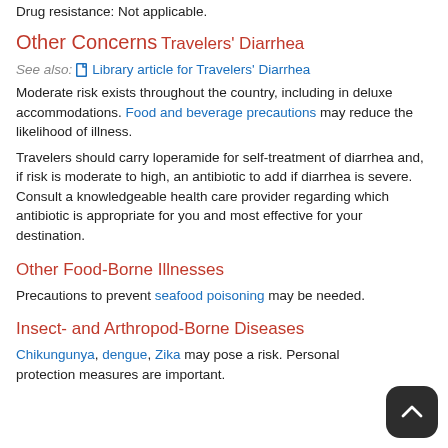Drug resistance: Not applicable.
Other Concerns
Travelers' Diarrhea
See also:  Library article for Travelers' Diarrhea
Moderate risk exists throughout the country, including in deluxe accommodations. Food and beverage precautions may reduce the likelihood of illness.
Travelers should carry loperamide for self-treatment of diarrhea and, if risk is moderate to high, an antibiotic to add if diarrhea is severe. Consult a knowledgeable health care provider regarding which antibiotic is appropriate for you and most effective for your destination.
Other Food-Borne Illnesses
Precautions to prevent seafood poisoning may be needed.
Insect- and Arthropod-Borne Diseases
Chikungunya, dengue, Zika may pose a risk. Personal protection measures are important.